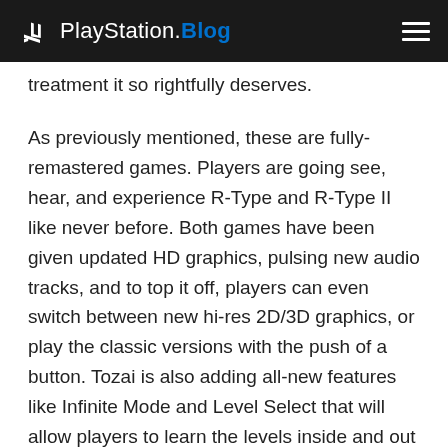PlayStation.Blog
treatment it so rightfully deserves.
As previously mentioned, these are fully-remastered games. Players are going see, hear, and experience R-Type and R-Type II like never before. Both games have been given updated HD graphics, pulsing new audio tracks, and to top it off, players can even switch between new hi-res 2D/3D graphics, or play the classic versions with the push of a button. Tozai is also adding all-new features like Infinite Mode and Level Select that will allow players to learn the levels inside and out so they can shoot for those perfect, 1CC runs.